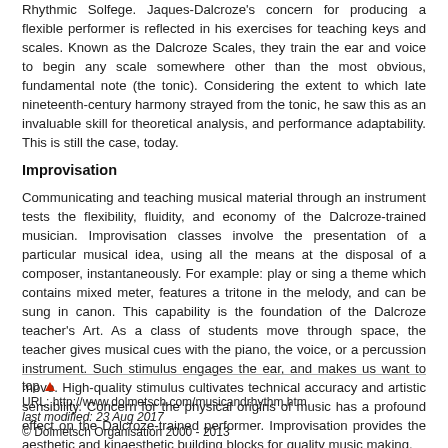Rhythmic Solfege. Jaques-Dalcroze's concern for producing a flexible performer is reflected in his exercises for teaching keys and scales. Known as the Dalcroze Scales, they train the ear and voice to begin any scale somewhere other than the most obvious, fundamental note (the tonic). Considering the extent to which late nineteenth-century harmony strayed from the tonic, he saw this as an invaluable skill for theoretical analysis, and performance adaptability. This is still the case, today.
Improvisation
Communicating and teaching musical material through an instrument tests the flexibility, fluidity, and economy of the Dalcroze-trained musician. Improvisation classes involve the presentation of a particular musical idea, using all the means at the disposal of a composer, instantaneously. For example: play or sing a theme which contains mixed meter, features a tritone in the melody, and can be sung in canon. This capability is the foundation of the Dalcroze teacher's Art. As a class of students move through space, the teacher gives musical cues with the piano, the voice, or a percussion instrument. Such stimulus engages the ear, and makes us want to move. High-quality stimulus cultivates technical accuracy and artistic sensibility. Concern for the physical origins of music has a profound effect on the Dalcroze-trained performer. Improvisation provides the aesthetic and kinaesthetic building blocks for quality music making.
top ▲
URL: http://www.dolmetsch.com/musicandrhythm.htm
last modified: 23 Aug 2017
© Dolmetsch Organisation 2000 - 2013